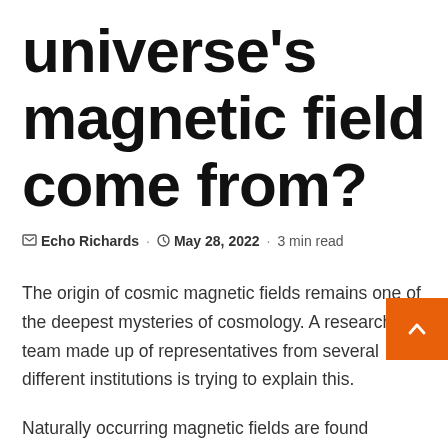universe's magnetic field come from?
Echo Richards · May 28, 2022 · 3 min read
The origin of cosmic magnetic fields remains one of the deepest mysteries of cosmology. A research team made up of representatives from several different institutions is trying to explain this.
Naturally occurring magnetic fields are found throughout the universe. They were first spotted on